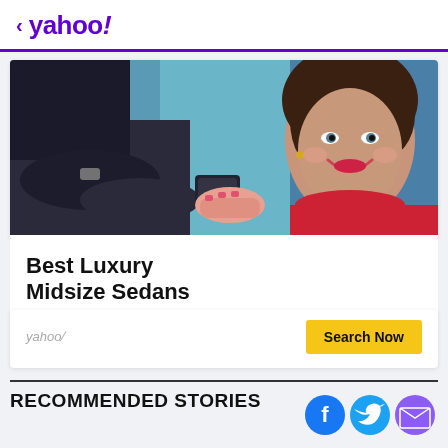< yahoo!
[Figure (photo): Car dealership scene: woman in red shirt smiling, receiving car keys from another person's hand, with car interior visible in background]
Best Luxury Midsize Sedans
yahoo/  Search Now
RECOMMENDED STORIES
[Figure (infographic): Social media share icons: Facebook (blue circle with f), Twitter (light blue circle with bird), Email (purple circle with envelope)]